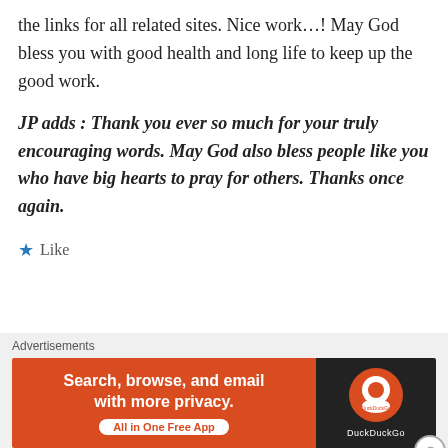the links for all related sites. Nice work…! May God bless you with good health and long life to keep up the good work.
JP adds : Thank you ever so much for your truly encouraging words. May God also bless people like you who have big hearts to pray for others. Thanks once again.
★ Like
↳ Reply
gokula krishnan on 12/12/2006 at 1:37 pm
[Figure (screenshot): DuckDuckGo advertisement banner: orange left side with text 'Search, browse, and email with more privacy. All in One Free App' and dark right side with DuckDuckGo logo]